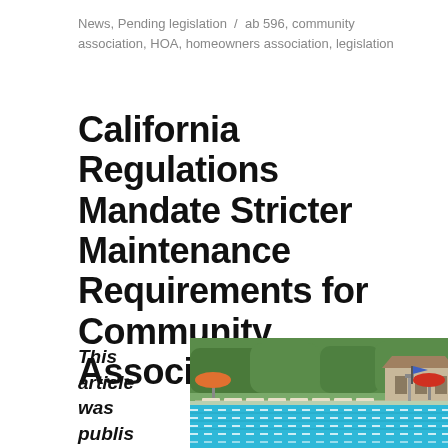News, Pending legislation / ab 596, community association, HOA, homeowners association, legislation
California Regulations Mandate Stricter Maintenance Requirements for Community Association Pools
This article was publis
[Figure (photo): Outdoor community association swimming pool with lane lines, lounge chairs, trees and buildings in background, with an orange umbrella and a blue flag visible.]